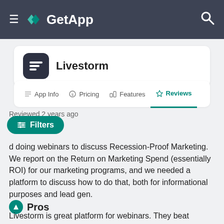GetApp
Livestorm
App Info  Pricing  Features  Reviews
Reviewed 2 years ago
Filters
d doing webinars to discuss Recession-Proof Marketing. We report on the Return on Marketing Spend (essentially ROI) for our marketing programs, and we needed a platform to discuss how to do that, both for informational purposes and lead gen.
Pros
Livestorm is great platform for webinars. They beat competitors like Demio by allowing you to customize the